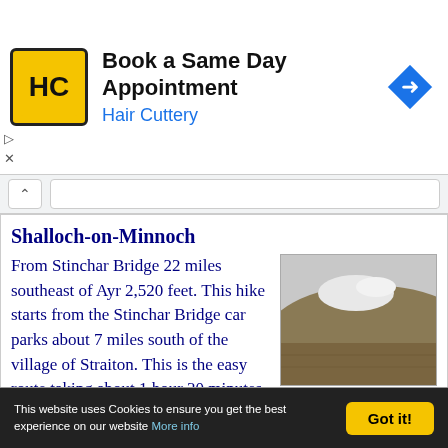[Figure (logo): Hair Cuttery advertisement banner with HC logo, text 'Book a Same Day Appointment' and 'Hair Cuttery', and a blue navigation arrow icon]
Shalloch-on-Minnoch
[Figure (photo): Landscape photo of a hillside with patches of snow and brown moorland under a grey sky]
From Stinchar Bridge 22 miles southeast of Ayr 2,520 feet. This hike starts from the Stinchar Bridge car parks about 7 miles south of the village of Straiton. This is the easy route taking about 1 hour 30 minutes to the top. The walk can also be extended to the Merrick on the same range.
Photo Tour Page . Road Map
This website uses Cookies to ensure you get the best experience on our website More info